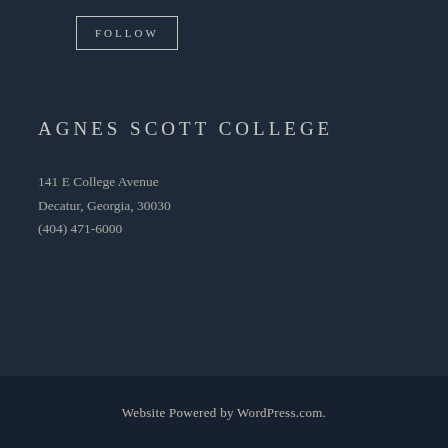FOLLOW
AGNES SCOTT COLLEGE
141 E College Avenue
Decatur, Georgia, 30030
(404) 471-6000
Website Powered by WordPress.com.